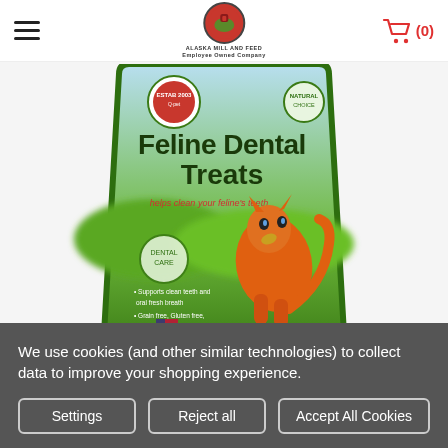Alaska Mill and Feed — Employee Owned Company | Cart (0)
[Figure (photo): Product photo of Feline Dental Treats bag — green packaging with an orange cartoon cat, text reads 'Feline Dental Treats', made in USA label, blurred background]
We use cookies (and other similar technologies) to collect data to improve your shopping experience.
Settings | Reject all | Accept All Cookies